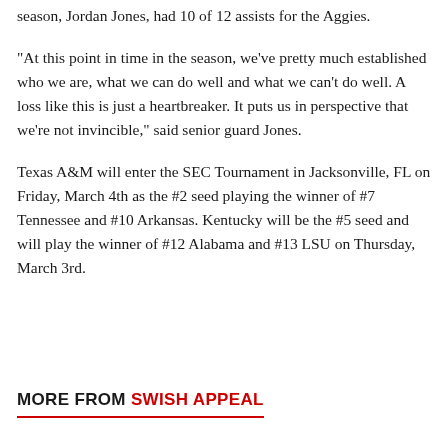season, Jordan Jones, had 10 of 12 assists for the Aggies.
"At this point in time in the season, we've pretty much established who we are, what we can do well and what we can't do well. A loss like this is just a heartbreaker. It puts us in perspective that we're not invincible," said senior guard Jones.
Texas A&M will enter the SEC Tournament in Jacksonville, FL on Friday, March 4th as the #2 seed playing the winner of #7 Tennessee and #10 Arkansas. Kentucky will be the #5 seed and will play the winner of #12 Alabama and #13 LSU on Thursday, March 3rd.
MORE FROM SWISH APPEAL